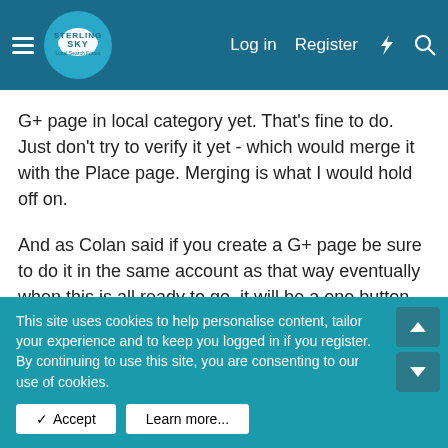Sterling Sky Local Search Forum — Log in | Register
G+ page in local category yet. That's fine to do. Just don't try to verify it yet - which would merge it with the Place page. Merging is what I would hold off on.
And as Colan said if you create a G+ page be sure to do it in the same account as that way eventually when this is all ready to go, it will be a one button upgrade.
shondarogers
Apr 4, 2013   #6
This site uses cookies to help personalise content, tailor your experience and to keep you logged in if you register.
By continuing to use this site, you are consenting to our use of cookies.